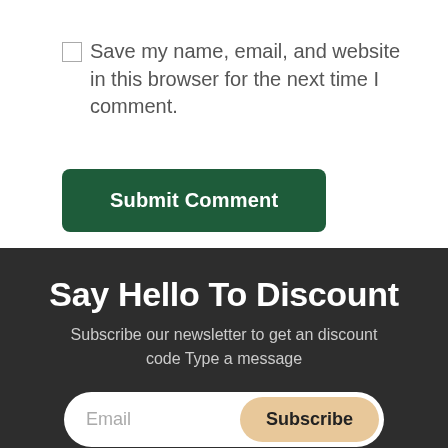Save my name, email, and website in this browser for the next time I comment.
Submit Comment
Say Hello To Discount
Subscribe our newsletter to get an discount code Type a message
Email
Subscribe